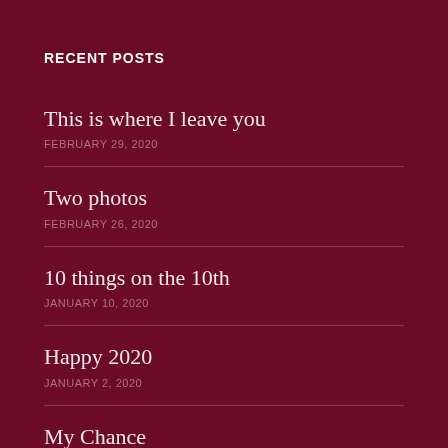RECENT POSTS
This is where I leave you
FEBRUARY 29, 2020
Two photos
FEBRUARY 26, 2020
10 things on the 10th
JANUARY 10, 2020
Happy 2020
JANUARY 2, 2020
My Chance
DECEMBER 11, 2019